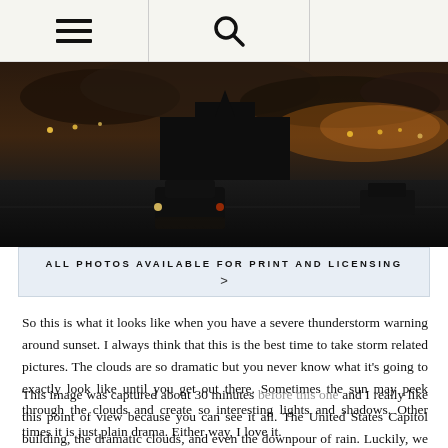≡  🔍
[Figure (photo): Nighttime / twilight photo of the United States Capitol area. A dark street scene at dusk with a vehicle visible, city lights in the background, and dramatic cloudy sky.]
ALL PHOTOS AVAILABLE FOR PRINT AND LICENSING >
So this is what it looks like when you have a severe thunderstorm warning around sunset. I always think that this is the best time to take storm related pictures. The clouds are so dramatic but you never know what it's going to exactly look like until you get out there. Sometimes the sun may peek through the clouds and create so interesting lights and shadows. Other times it is just plain drama. Either way, I love it.
This image was captured about 30 minutes before this one and I really like this point of view because you can see it all. The United States Capitol building, the dramatic clouds, and even the downpour of rain. Luckily, we didn't get wet at all. Just in case